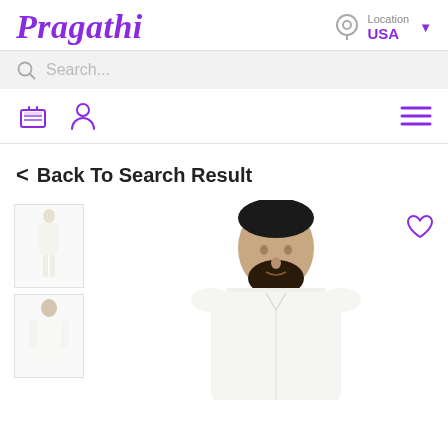Pragathi
Location USA
Search...
< Back To Search Result
[Figure (photo): E-commerce product page for Pragathi showing a man in white traditional kurta clothing, with two thumbnail images on the left and a main product image on the right, plus a heart/favorite icon.]